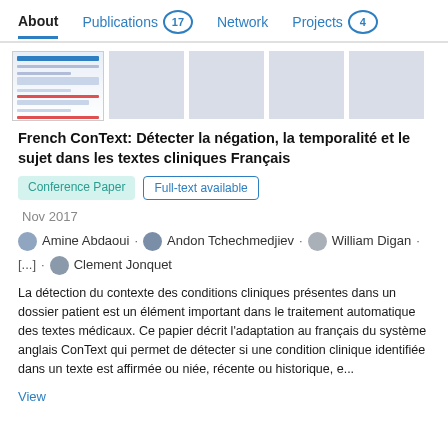About  Publications 17  Network  Projects 4
[Figure (screenshot): Row of publication thumbnail images: first shows a screenshot of a document with blue and red table/chart elements, remaining four are gray placeholder boxes]
French ConText: Détecter la négation, la temporalité et le sujet dans les textes cliniques Français
Conference Paper  Full-text available
Nov 2017
Amine Abdaoui · Andon Tchechmedjiev · William Digan · [...] · Clement Jonquet
La détection du contexte des conditions cliniques présentes dans un dossier patient est un élément important dans le traitement automatique des textes médicaux. Ce papier décrit l'adaptation au français du système anglais ConText qui permet de détecter si une condition clinique identifiée dans un texte est affirmée ou niée, récente ou historique, e...
View